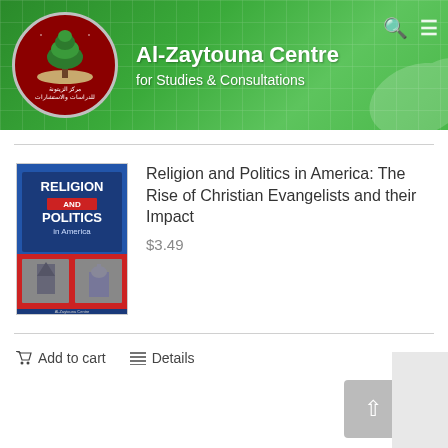[Figure (logo): Al-Zaytouna Centre logo - circular badge with red background and green tree, with Arabic text]
Al-Zaytouna Centre for Studies & Consultations
[Figure (photo): Book cover of 'Religion and Politics in America' with blue and red design showing church and capitol building images]
Religion and Politics in America: The Rise of Christian Evangelists and their Impact
$3.49
Add to cart
Details